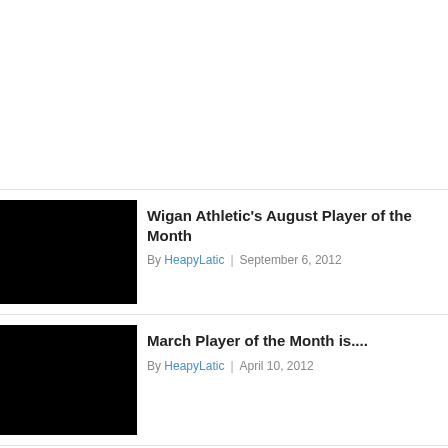Wigan Athletic's August Player of the Month
By HeapyLatic | September 6, 2012
March Player of the Month is....
By HeapyLatic | April 10, 2012
February Player of the Month
By HeapyLatic | March 12, 2012